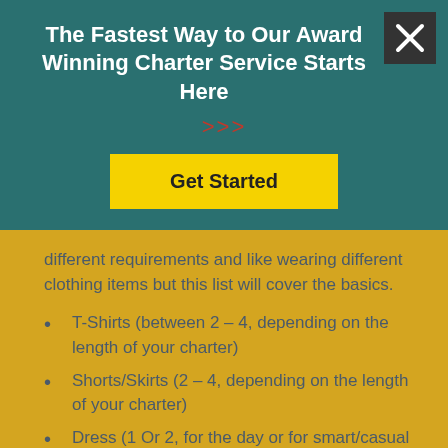The Fastest Way to Our Award Winning Charter Service Starts Here
[Figure (other): Yellow 'Get Started' call-to-action button on teal background with red arrow symbols]
different requirements and like wearing different clothing items but this list will cover the basics.
T-Shirts (between 2 – 4, depending on the length of your charter)
Shorts/Skirts (2 – 4, depending on the length of your charter)
Dress (1 Or 2, for the day or for smart/casual evenings)
Smart Casual Outfit (2 smarter outfits for the evening, maybe for a meal in a